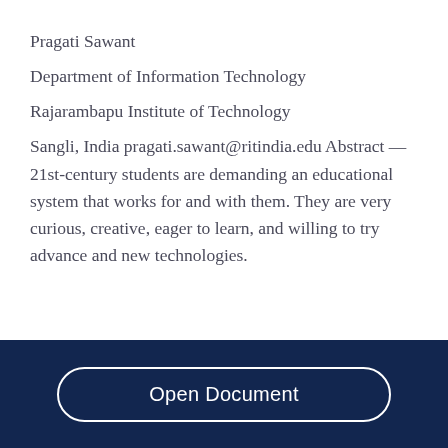Pragati Sawant
Department of Information Technology
Rajarambapu Institute of Technology
Sangli, India pragati.sawant@ritindia.edu Abstract — 21st-century students are demanding an educational system that works for and with them. They are very curious, creative, eager to learn, and willing to try advance and new technologies.
Open Document